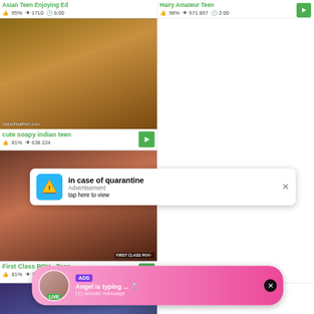Asian Teen Enjoying Ed | 95% | 1710 views | 6:00
Hairy Amateur Teen | 98% | 971 897 views | 2:00
[Figure (screenshot): Video thumbnail - cute soapy indian teen with watermark IndianRealPorn.com]
cute soapy indian teen | 81% | 638 224 views
[Figure (screenshot): Video thumbnail - First Class POV Teen with FIRST CLASS POV watermark]
First Class POV - Teen | 81% | 719 324 views | 11:00
[Figure (infographic): Ad popup: in case of quarantine | Advertisement | tap here to view]
[Figure (screenshot): Video thumbnail bottom left - Classic chubby teen riding]
[Figure (screenshot): Video thumbnail bottom right - big boob indian teen rough]
[Figure (infographic): Chat ad overlay: ADS - Angel is typing ... with ring emoji, (1) unread message, LIVE badge]
Classic chubby teen riding | 91% | 475 436 views | 10:00
big boob indian teen rough | 92% | 970 744 views | 12:00